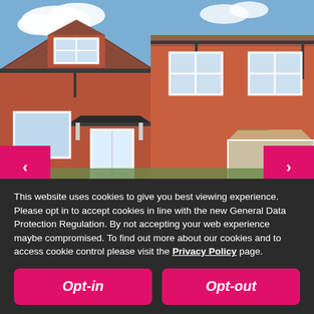[Figure (photo): Exterior photo of a modern red-brick residential house with white-framed windows, a tiled roof, conservatory on the right side, and a dormer extension. Blue sky in the background.]
This website uses cookies to give you best viewing experience. Please opt in to accept cookies in line with the new General Data Protection Regulation. By not accepting your web experience maybe compromised. To find out more about our cookies and to access cookie control please visit the Privacy Policy page.
Opt-in
Opt-out